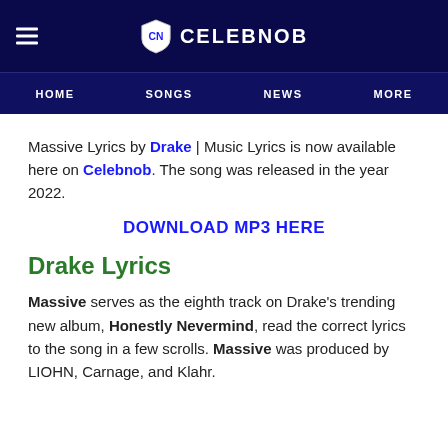CELEBNOB
HOME | SONGS | NEWS | MORE
Massive Lyrics by Drake | Music Lyrics is now available here on Celebnob. The song was released in the year 2022.
DOWNLOAD MP3 HERE
Drake Lyrics
Massive serves as the eighth track on Drake's trending new album, Honestly Nevermind, read the correct lyrics to the song in a few scrolls. Massive was produced by LIOHN, Carnage, and Klahr.